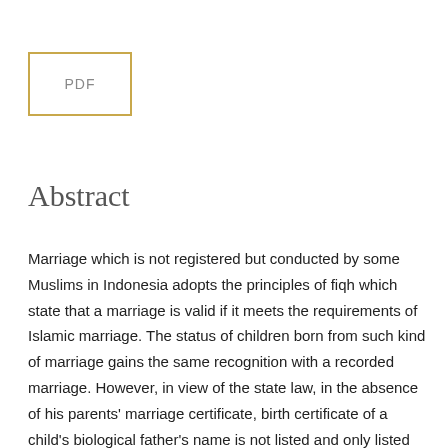[Figure (other): PDF badge — a rectangular box with golden/amber border containing the text 'PDF']
Abstract
Marriage which is not registered but conducted by some Muslims in Indonesia adopts the principles of fiqh which state that a marriage is valid if it meets the requirements of Islamic marriage. The status of children born from such kind of marriage gains the same recognition with a recorded marriage. However, in view of the state law, in the absence of his parents' marriage certificate, birth certificate of a child's biological father's name is not listed and only listed the name of the mother who gave birth. The child, then, cannot perform civil law relationship with her biological father. The child